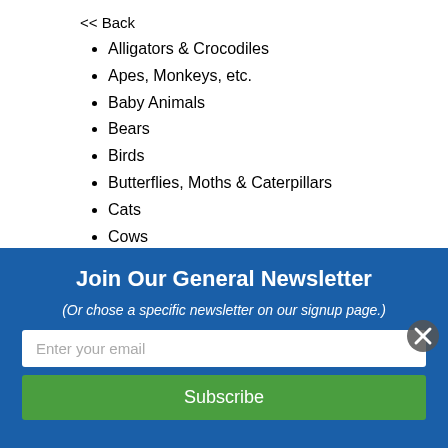<< Back
Alligators & Crocodiles
Apes, Monkeys, etc.
Baby Animals
Bears
Birds
Butterflies, Moths & Caterpillars
Cats
Cows
Deer, Moose & Caribou
Dinosaurs & Prehistoric Creatures
Dogs
Dragons, Unicorns & Mythical
Ducks, Geese, etc.
Elephants (partial)
Join Our General Newsletter
(Or chose a specific newsletter on our signup page.)
Enter your email
Subscribe